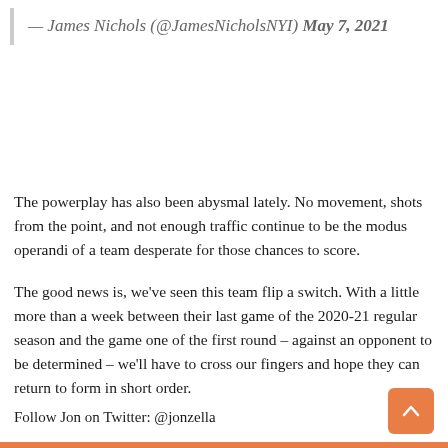— James Nichols (@JamesNicholsNYI) May 7, 2021
The powerplay has also been abysmal lately. No movement, shots from the point, and not enough traffic continue to be the modus operandi of a team desperate for those chances to score.
The good news is, we've seen this team flip a switch. With a little more than a week between their last game of the 2020-21 regular season and the game one of the first round – against an opponent to be determined – we'll have to cross our fingers and hope they can return to form in short order.
Follow Jon on Twitter: @jonzella